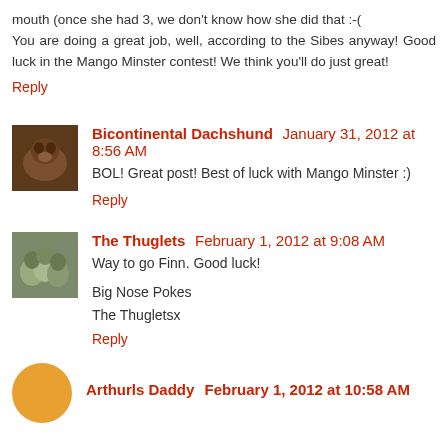mouth (once she had 3, we don't know how she did that :-( You are doing a great job, well, according to the Sibes anyway! Good luck in the Mango Minster contest! We think you'll do just great!
Reply
Bicontinental Dachshund  January 31, 2012 at 8:56 AM
BOL! Great post! Best of luck with Mango Minster :)
Reply
The Thuglets  February 1, 2012 at 9:08 AM
Way to go Finn. Good luck!

Big Nose Pokes
The Thugletsx
Reply
Arthurls Daddy  February 1, 2012 at 10:58 AM